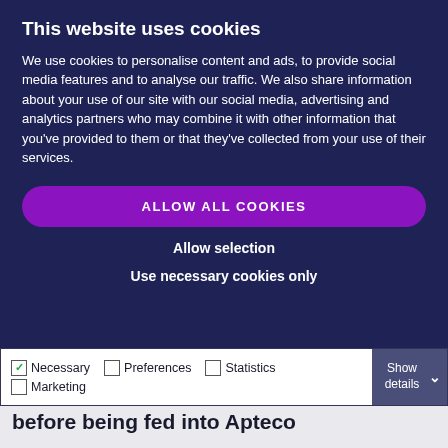This website uses cookies
We use cookies to personalise content and ads, to provide social media features and to analyse our traffic. We also share information about your use of our site with our social media, advertising and analytics partners who may combine it with other information that you’ve provided to them or that they’ve collected from your use of their services.
ALLOW ALL COOKIES
Allow selection
Use necessary cookies only
Necessary  Preferences  Statistics  Marketing  Show details
before being fed into Apteco FastStats on a weekly basis. All the data manipulation and analyses are undertaken